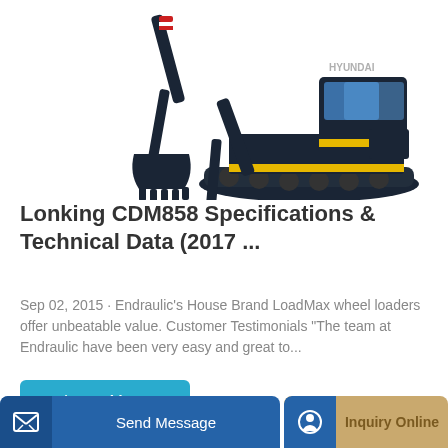[Figure (photo): Excavator and bucket attachment shown side by side — dark navy/black tracked excavator (Hyundai style) with yellow accents, alongside a standalone bucket attachment]
Lonking CDM858 Specifications & Technical Data (2017 ...
Sep 02, 2015 · Endraulic's House Brand LoadMax wheel loaders offer unbeatable value. Customer Testimonials "The team at Endraulic have been very easy and great to...
Learn More
Send Message
Inquiry Online